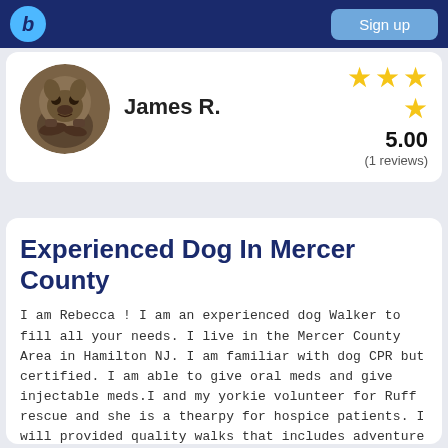Sign up
[Figure (photo): Profile photo of a dog (bulldog/pit mix) in a circular crop]
James R.
[Figure (other): 5-star rating display: 4 gold stars arranged with 3 on top row and 1 on second row]
5.00
(1 reviews)
Experienced Dog In Mercer County
I am Rebecca ! I am an experienced dog Walker to fill all your needs. I live in the Mercer County Area in Hamilton NJ. I am familiar with dog CPR but certified. I am able to give oral meds and give injectable meds.I and my yorkie volunteer for Ruff rescue and she is a thearpy for hospice patients. I will provided quality walks that includes adventure and fun. See Profile